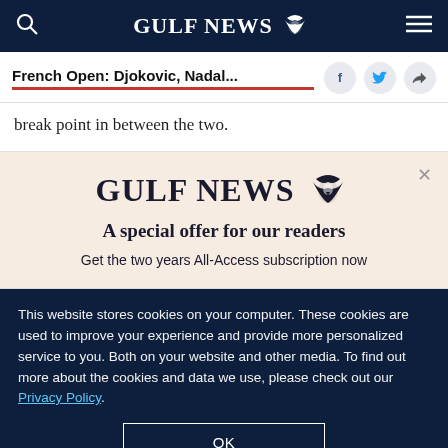GULF NEWS
French Open: Djokovic, Nadal...
break point in between the two.
[Figure (logo): Gulf News logo with eagle emblem and text 'A special offer for our readers'. Get the two years All-Access subscription now]
This website stores cookies on your computer. These cookies are used to improve your experience and provide more personalized service to you. Both on your website and other media. To find out more about the cookies and data we use, please check out our Privacy Policy.
OK